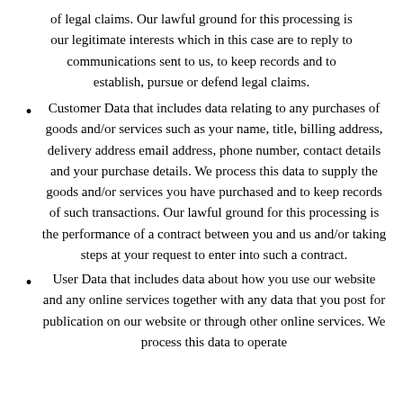of legal claims. Our lawful ground for this processing is our legitimate interests which in this case are to reply to communications sent to us, to keep records and to establish, pursue or defend legal claims.
Customer Data that includes data relating to any purchases of goods and/or services such as your name, title, billing address, delivery address email address, phone number, contact details and your purchase details. We process this data to supply the goods and/or services you have purchased and to keep records of such transactions. Our lawful ground for this processing is the performance of a contract between you and us and/or taking steps at your request to enter into such a contract.
User Data that includes data about how you use our website and any online services together with any data that you post for publication on our website or through other online services. We process this data to operate